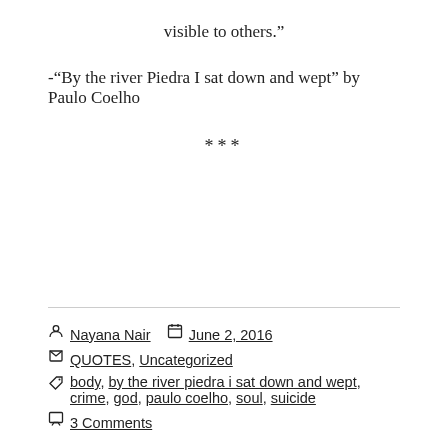visible to others.”
-“By the river Piedra I sat down and wept” by Paulo Coelho
***
Nayana Nair   📅 June 2, 2016
📁 QUOTES, Uncategorized
🏷 body, by the river piedra i sat down and wept, crime, god, paulo coelho, soul, suicide
💬 3 Comments